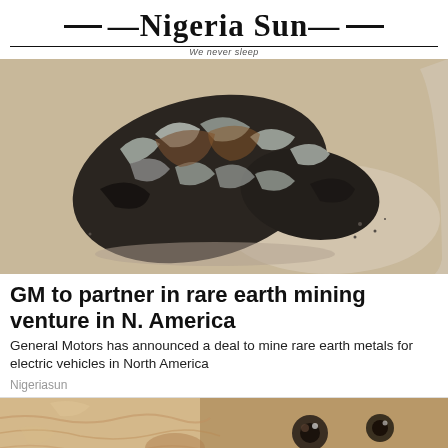Nigeria Sun — We never sleep
[Figure (photo): Close-up photo of a rough dark metallic mineral/ore specimen with silvery metallic sheen, placed on a light background]
GM to partner in rare earth mining venture in N. America
General Motors has announced a deal to mine rare earth metals for electric vehicles in North America
Nigeriasun
[Figure (photo): Close-up photo of an animal face, appears to be a dog or cat with fur visible and dark eyes]